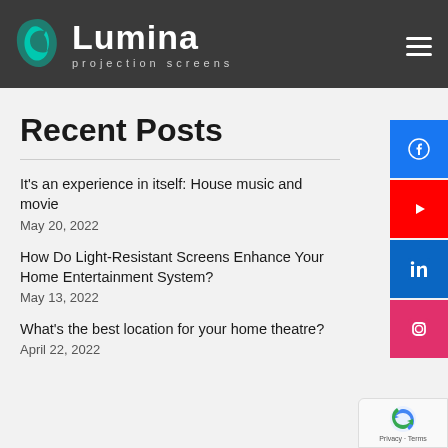Lumina projection screens
Recent Posts
It's an experience in itself: House music and movie
May 20, 2022
How Do Light-Resistant Screens Enhance Your Home Entertainment System?
May 13, 2022
What's the best location for your home theatre?
April 22, 2022